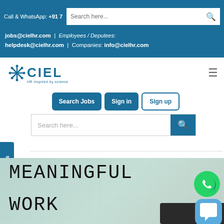Call & WhatsApp: +91 7 | jobs@cielhr.com | Employees / Deputees: helpdesk@cielhr.com | Companies: info@cielhr.com
[Figure (logo): CIEL HR logo with snowflake icon and tagline 'HR inspired by science']
Search Jobs | Sign in | Sign up
Search here...
Contact Us
[Figure (photo): Hero image with text MEANINGFUL WORK in monospace font over a fabric/textile background]